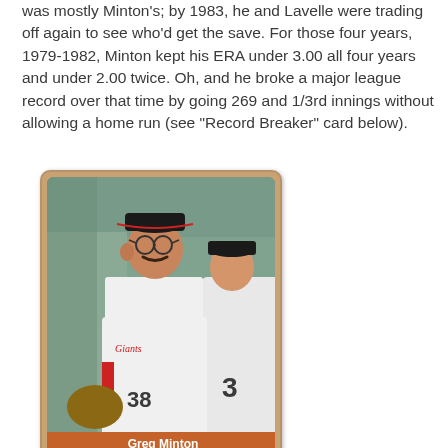was mostly Minton's; by 1983, he and Lavelle were trading off again to see who'd get the save. For those four years, 1979-1982, Minton kept his ERA under 3.00 all four years and under 2.00 twice. Oh, and he broke a major league record over that time by going 269 and 1/3rd innings without allowing a home run (see "Record Breaker" card below).
[Figure (photo): A baseball card showing Greg Minton in a San Francisco Giants uniform sitting in the dugout, wearing glasses and a mustache, number 38. An orange name bar at the bottom reads 'Greg Minton' and 'GIANTS • PITCHER'.]